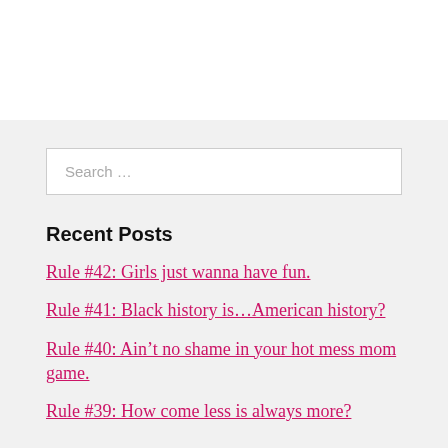[Figure (other): White top area of the page, likely main content region]
Search …
Recent Posts
Rule #42: Girls just wanna have fun.
Rule #41: Black history is…American history?
Rule #40: Ain't no shame in your hot mess mom game.
Rule #39: How come less is always more?